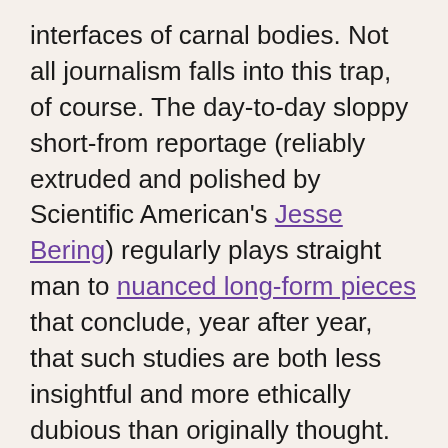interfaces of carnal bodies. Not all journalism falls into this trap, of course. The day-to-day sloppy short-from reportage (reliably extruded and polished by Scientific American's Jesse Bering) regularly plays straight man to nuanced long-form pieces that conclude, year after year, that such studies are both less insightful and more ethically dubious than originally thought.
WAK have inadvertently trained their deep neural network to discover the most shallow reality of the gay world: gayface (dykeface is the less-recognized lesbian analogue). Gayface, a word consecrated in the venerable Urban Dictionary in 2006, is the particular cocked-head, arched-eyebrows and pursed-lip